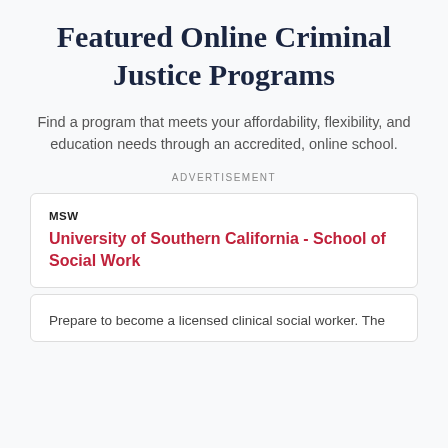Featured Online Criminal Justice Programs
Find a program that meets your affordability, flexibility, and education needs through an accredited, online school.
ADVERTISEMENT
MSW
University of Southern California - School of Social Work
Prepare to become a licensed clinical social worker. The